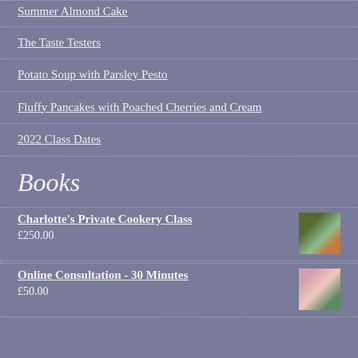Summer Almond Cake
The Taste Testers
Potato Soup with Parsley Pesto
Fluffy Pancakes with Poached Cherries and Cream
2022 Class Dates
Books
Charlotte's Private Cookery Class
£250.00
Online Consultation - 30 Minutes
£50.00